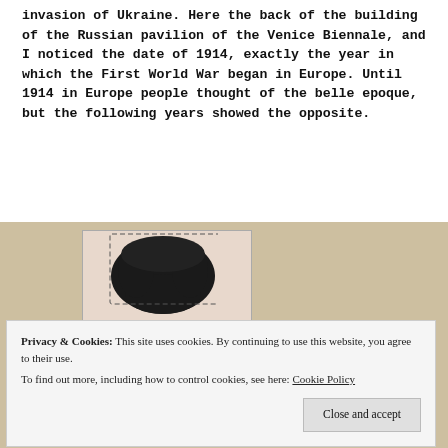invasion of Ukraine. Here the back of the building of the Russian pavilion of the Venice Biennale, and I noticed the date of 1914, exactly the year in which the First World War began in Europe. Until 1914 in Europe people thought of the belle epoque, but the following years showed the opposite.
[Figure (photo): A photograph showing the back of a person's head with dark hair, against a beige/cream wall background. A lighter rectangular card or photo is visible behind the head.]
Privacy & Cookies: This site uses cookies. By continuing to use this website, you agree to their use.
To find out more, including how to control cookies, see here: Cookie Policy
Close and accept